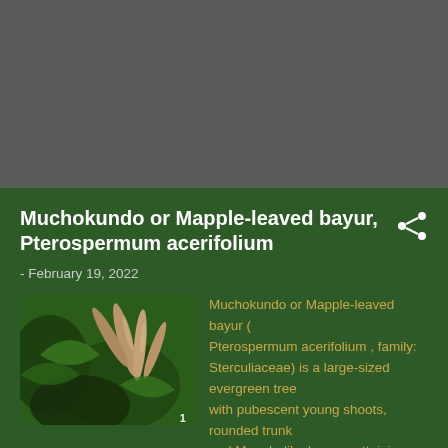Muchokundo or Mapple-leaved bayur, Pterospermum acerifolium
- February 19, 2022
[Figure (photo): Close-up photo of Pterospermum acerifolium plant with elongated seed pods and leaves against a green background]
Muchokundo or Mapple-leaved bayur ( Pterospermum acerifolium , family: Sterculiaceae) is a large-sized evergreen tree with pubescent young shoots, rounded trunk and Mapple-like leaves, attaining a height o …